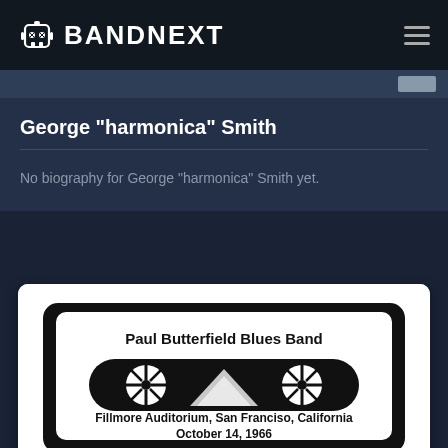BANDNEXT
George "harmonica" Smith
No biography for George "harmonica" Smith yet.
[Figure (illustration): Cassette tape graphic with label showing 'Paul Butterfield Blues Band' and 'Fillmore Auditorium, San Franciso, California October 14, 1966']